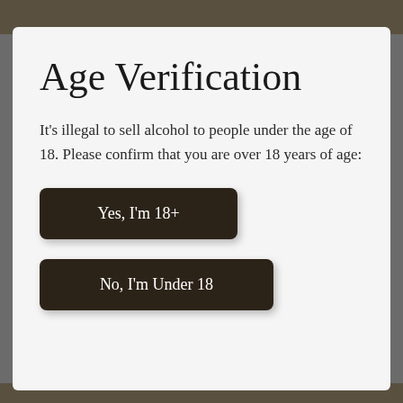[Figure (screenshot): Dark background strip at top showing blurred background image]
Age Verification
It's illegal to sell alcohol to people under the age of 18. Please confirm that you are over 18 years of age:
Yes, I'm 18+
No, I'm Under 18